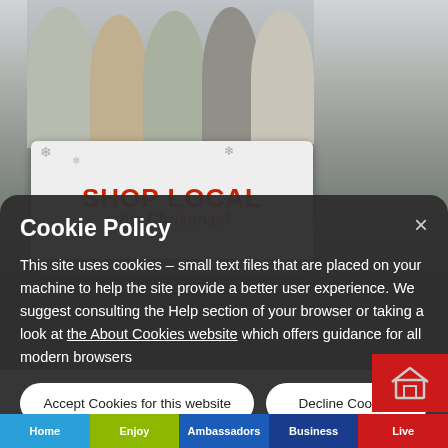[Figure (photo): Group of people holding a 'SHOP LOCAL this Christmas!' banner outdoors]
Cookie Policy
This site uses cookies – small text files that are placed on your machine to help the site provide a better user experience. We suggest consulting the Help section of your browser or taking a look at the About Cookies website which offers guidance for all modern browsers
Accept Cookies for this website
Decline Cookies
Home  Enjoy  Ambassadors  Business  Live